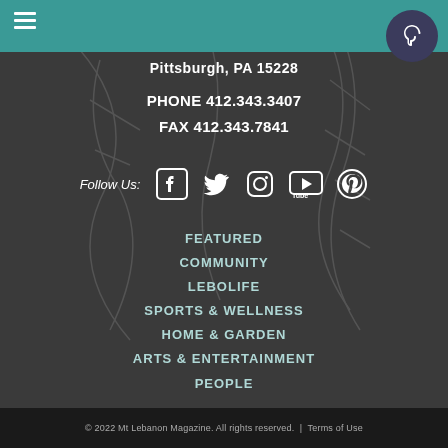Pittsburgh, PA 15228
PHONE 412.343.3407
FAX 412.343.7841
Follow Us:
FEATURED
COMMUNITY
LEBOLIFE
SPORTS & WELLNESS
HOME & GARDEN
ARTS & ENTERTAINMENT
PEOPLE
© 2022 Mt Lebanon Magazine. All rights reserved.  |  Terms of Use